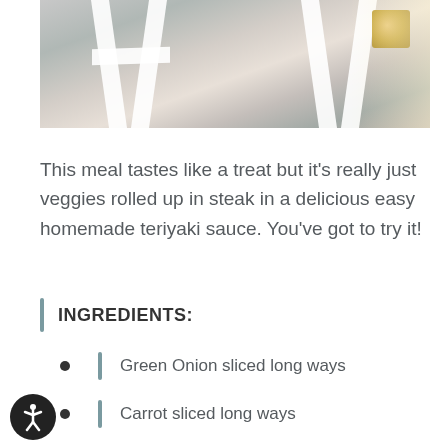[Figure (photo): Photo of white table legs on a wooden floor with a golden/brown object in the upper right corner and sunlight coming from the right side.]
This meal tastes like a treat but it's really just veggies rolled up in steak in a delicious easy homemade teriyaki sauce. You've got to try it!
INGREDIENTS:
Green Onion sliced long ways
Carrot sliced long ways